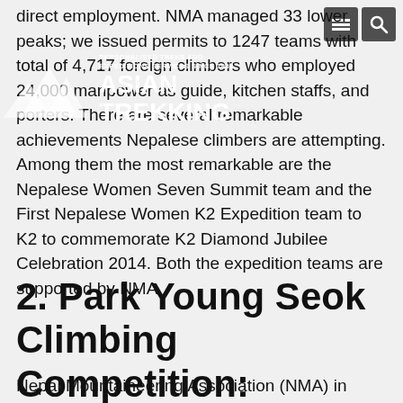direct employment. NMA managed 33 lower peaks; we issued permits to 1247 teams with total of 4,717 foreign climbers who employed 24,000 manpower as guide, kitchen staffs, and porters. There are several remarkable achievements Nepalese climbers are attempting. Among them the most remarkable are the Nepalese Women Seven Summit team and the First Nepalese Women K2 Expedition team to K2 to commemorate K2 Diamond Jubilee Celebration 2014. Both the expedition teams are supported by NMA.
[Figure (logo): Asian Trekking logo with mountain silhouette and text 'PERSONALISED TREKS AND EXPEDITIONS SERVICES SINCE 1982 / ASIAN TREKKING']
2. Park Young Seok Climbing Competition:
Nepal Mountaineering Association (NMA) in